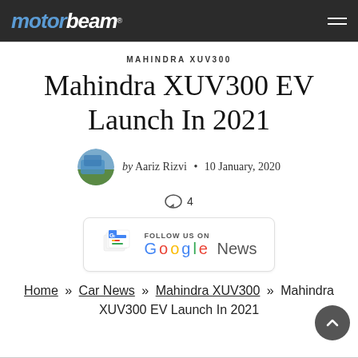MOTORBEAM
MAHINDRA XUV300
Mahindra XUV300 EV Launch In 2021
by Aariz Rizvi · 10 January, 2020
4
[Figure (logo): Follow us on Google News badge]
Home » Car News » Mahindra XUV300 » Mahindra XUV300 EV Launch In 2021